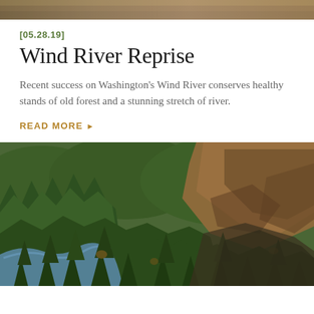[Figure (photo): Partial top strip of a nature/landscape photo visible at top of page]
[05.28.19]
Wind River Reprise
Recent success on Washington's Wind River conserves healthy stands of old forest and a stunning stretch of river.
READ MORE ▶
[Figure (photo): Aerial photograph of Wind River canyon with forested slopes of pine/fir trees, a river winding through the bottom of the canyon, and a prominent rocky cliff face on the right side. Dense coniferous forest covers the hillsides with some autumn coloring visible.]